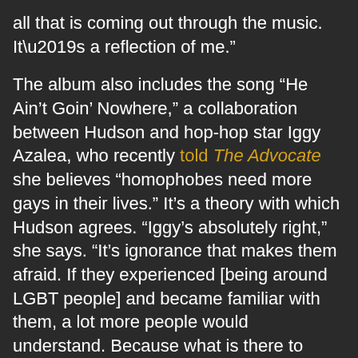all that is coming out through the music. It’s a reflection of me.”
The album also includes the song “He Ain’t Goin’ Nowhere,” a collaboration between Hudson and hop-hop star Iggy Azalea, who recently told The Advocate she believes “homophobes need more gays in their lives.” It’s a theory with which Hudson agrees. “Iggy’s absolutely right,” she says. “It’s ignorance that makes them afraid. If they experienced [being around LGBT people] and became familiar with them, a lot more people would understand. Because what is there to fear? I don’t understand.”
When asked why she thinks antigay groups such as